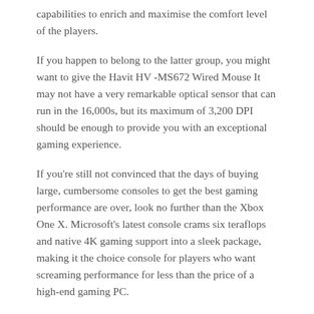capabilities to enrich and maximise the comfort level of the players.
If you happen to belong to the latter group, you might want to give the Havit HV -MS672 Wired Mouse It may not have a very remarkable optical sensor that can run in the 16,000s, but its maximum of 3,200 DPI should be enough to provide you with an exceptional gaming experience.
If you're still not convinced that the days of buying large, cumbersome consoles to get the best gaming performance are over, look no further than the Xbox One X. Microsoft's latest console crams six teraflops and native 4K gaming support into a sleek package, making it the choice console for players who want screaming performance for less than the price of a high-end gaming PC.